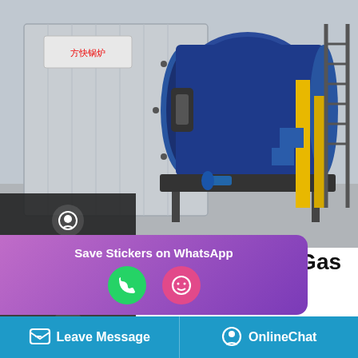[Figure (photo): Industrial natural gas boiler with large blue cylindrical vessel mounted on a metal frame, silver rectangular enclosure at left with Chinese text signage, yellow pipes and metal staircase in background, industrial warehouse setting.]
Dealer Industrial 2t Natural Gas Boiler Lithuania
Distributor Industrial 1t Biomass Fired Boiler Moldavia. Supplier Industrial 2t Natural Gas fired boiler Armenia Gas Oil Manufacturer Natural Gas Hot Water 0 /h-20t/h heavy oil steam boilermanufacturer · October 27 2018 best h economical economical
[Figure (screenshot): WhatsApp Save Stickers promotion popup with purple/pink gradient background, showing a phone icon (green circle) and a smiley face icon (pink circle)]
Leave Message   OnlineChat